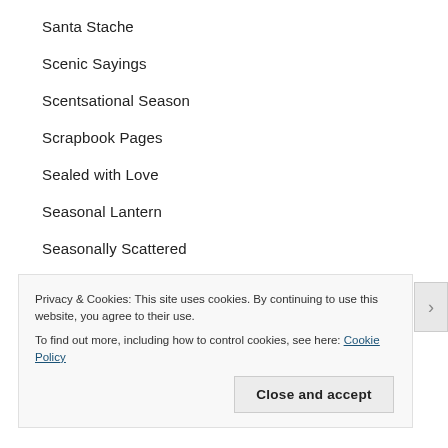Santa Stache
Scenic Sayings
Scentsational Season
Scrapbook Pages
Sealed with Love
Seasonal Lantern
Seasonally Scattered
Secret Garden
Sending Smiles
Sent with Love
Privacy & Cookies: This site uses cookies. By continuing to use this website, you agree to their use.
To find out more, including how to control cookies, see here: Cookie Policy
Close and accept